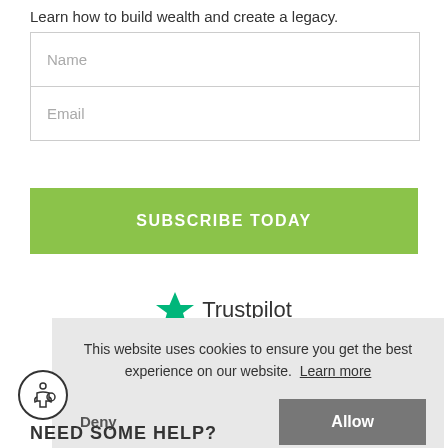Learn how to build wealth and create a legacy.
[Figure (screenshot): Web form with Name and Email input fields]
SUBSCRIBE TODAY
[Figure (logo): Trustpilot logo with green star]
This website uses cookies to ensure you get the best experience on our website. Learn more
Deny
Allow
NEED SOME HELP?